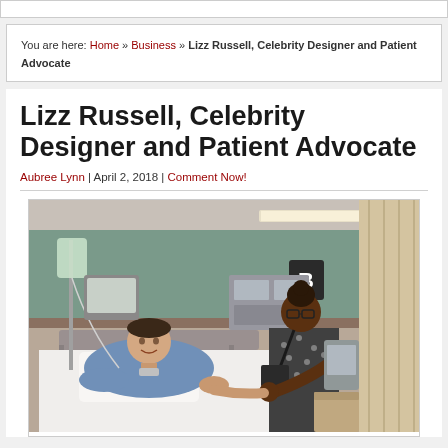You are here: Home » Business » Lizz Russell, Celebrity Designer and Patient Advocate
Lizz Russell, Celebrity Designer and Patient Advocate
Aubree Lynn | April 2, 2018 | Comment Now!
[Figure (photo): A woman lying in a hospital bed in a blue patient gown, smiling and holding hands with a standing woman wearing a patterned dress and glasses. Hospital room with medical equipment visible in the background including IV lines and monitors.]